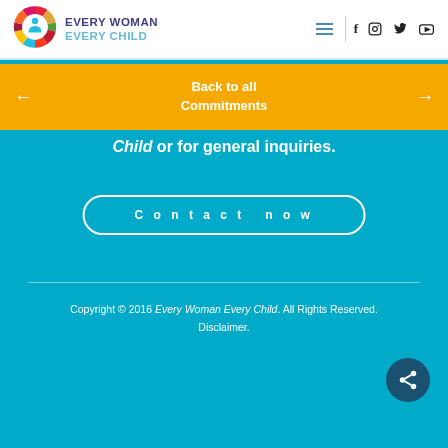[Figure (logo): Every Woman Every Child SDG colorful circular logo with person icon in center]
EVERY WOMAN EVERY CHILD
Back to all Commitments
Child or for general inquiries.
Contact now
Copyright © 2016 Every Woman Every Child. All Rights Reserved. Disclaimer.